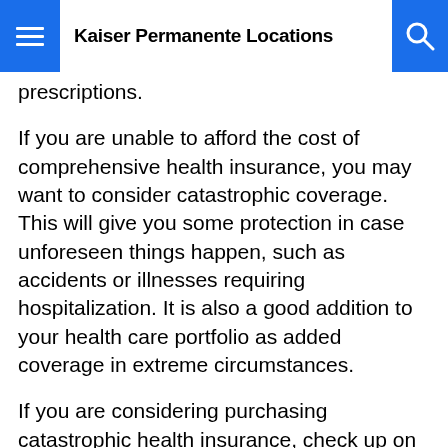Kaiser Permanente Locations
prescriptions.
If you are unable to afford the cost of comprehensive health insurance, you may want to consider catastrophic coverage. This will give you some protection in case unforeseen things happen, such as accidents or illnesses requiring hospitalization. It is also a good addition to your health care portfolio as added coverage in extreme circumstances.
If you are considering purchasing catastrophic health insurance, check up on the details of what is covered by this option. Make sure it covers the catastrophic events that you're worried about. After you purchase the policy, set up a specified savings account. Make regular deposits into this account so that you will be able to afford your deductibles if anything catastrophic occurs.